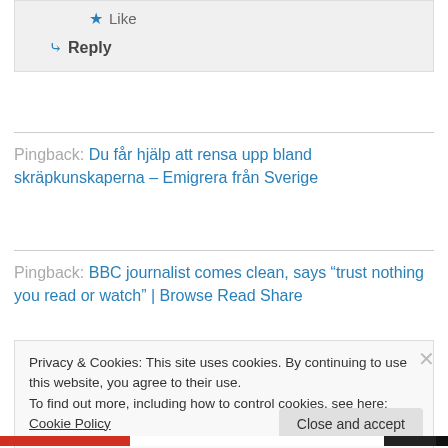Like
Reply
Pingback: Du får hjälp att rensa upp bland skräpkunskaperna – Emigrera från Sverige
Pingback: BBC journalist comes clean, says “trust nothing you read or watch” | Browse Read Share
Privacy & Cookies: This site uses cookies. By continuing to use this website, you agree to their use.
To find out more, including how to control cookies, see here: Cookie Policy
Close and accept